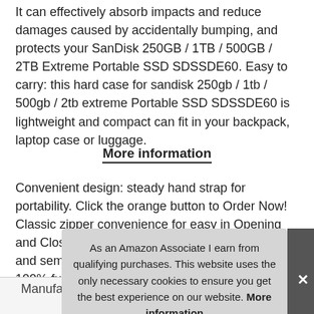It can effectively absorb impacts and reduce damages caused by accidentally bumping, and protects your SanDisk 250GB / 1TB / 500GB / 2TB Extreme Portable SSD SDSSDE60. Easy to carry: this hard case for sandisk 250gb / 1tb / 500gb / 2tb extreme Portable SSD SDSSDE60 is lightweight and compact can fit in your backpack, laptop case or luggage.
More information
Convenient design: steady hand strap for portability. Click the orange button to Order Now! Classic zipper convenience for easy in Opening and Closing. The case is shockproof, dustproof and semi-waterproof. Risk-free purchase: we will 100% full refund. if there are quality problems. this is totally risk-
As an Amazon Associate I earn from qualifying purchases. This website uses the only necessary cookies to ensure you get the best experience on our website. More information
|  |  |
| --- | --- |
| Manufacturer | L3 Tech |